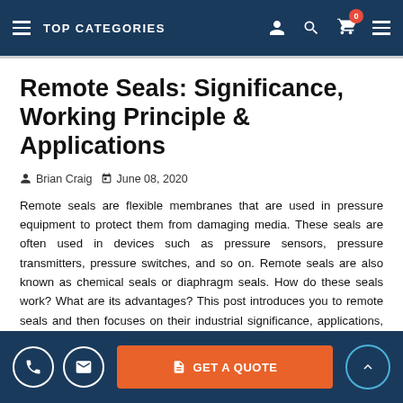TOP CATEGORIES
Remote Seals: Significance, Working Principle & Applications
Brian Craig   June 08, 2020
Remote seals are flexible membranes that are used in pressure equipment to protect them from damaging media. These seals are often used in devices such as pressure sensors, pressure transmitters, pressure switches, and so on. Remote seals are also known as chemical seals or diaphragm seals. How do these seals work? What are its advantages? This post introduces you to remote seals and then focuses on their industrial significance, applications, and more.
The remote seals are elastic membranes that seal and isolate
GET A QUOTE